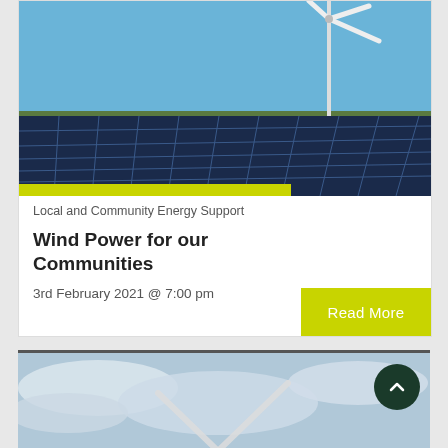[Figure (photo): Solar panels in a field with a wind turbine visible against a blue sky in the background]
Local and Community Energy Support
Wind Power for our Communities
3rd February 2021 @ 7:00 pm
Read More
[Figure (photo): Wind turbine blade against a cloudy sky, partial view at bottom of page]